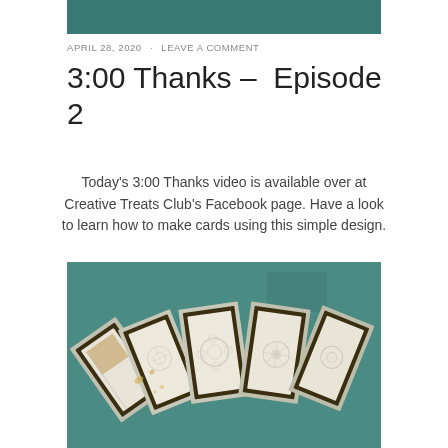[Figure (photo): Green teal background image at top of page (partially cropped)]
APRIL 28, 2020 · LEAVE A COMMENT
3:00 Thanks – Episode 2
Today's 3:00 Thanks video is available over at Creative Treats Club's Facebook page. Have a look to learn how to make cards using this simple design.
[Figure (photo): Photo of a fan of handmade cards with dark brown borders and floral designs, arranged on a teal green background]